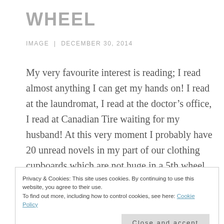WHEEL
IMAGE  |  DECEMBER 30, 2014
My very favourite interest is reading; I read almost anything I can get my hands on! I read at the laundromat, I read at the doctor’s office, I read at Canadian Tire waiting for my husband! At this very moment I probably have 20 unread novels in my part of our clothing cupboards which are not huge in a 5th wheel.  My best reading time is in the morning after my husband gets up, readies the coffee and brings me my first of 3 “in bed” cups
Privacy & Cookies: This site uses cookies. By continuing to use this website, you agree to their use.
To find out more, including how to control cookies, see here: Cookie Policy
Close and accept
Since I have been in Retirement Mode, I have taken on the